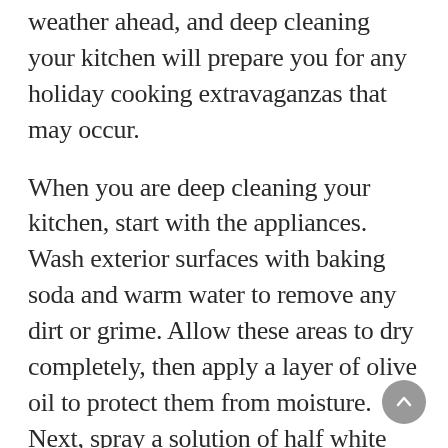weather ahead, and deep cleaning your kitchen will prepare you for any holiday cooking extravaganzas that may occur.
When you are deep cleaning your kitchen, start with the appliances. Wash exterior surfaces with baking soda and warm water to remove any dirt or grime. Allow these areas to dry completely, then apply a layer of olive oil to protect them from moisture. Next, spray a solution of half white vinegar and half water onto hard surfaces in the kitchen. Clean these areas with a soft cloth, and then dry them with a clean towel.